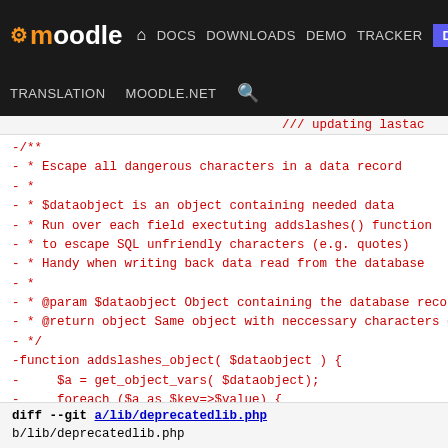moodle — DOCS DOWNLOADS DEMO TRACKER DEV — TRANSLATION MOODLE.NET
[Figure (screenshot): Moodle developer site navigation bar with logo, nav links (DOCS, DOWNLOADS, DEMO, TRACKER, DEV highlighted in blue), and secondary nav (TRANSLATION, MOODLE.NET, search icon)]
/// updating lastac
-/**
- * Escape all dangerous characters in a data record
- *
- * $dataobject is an object containing needed data
- * Run over each field exectuting addslashes() function
- * to escape SQL unfriendly characters (e.g. quotes)
- * Handy when writing back data read from the database
- *
- * @param $dataobject Object containing the database recor
- * @return object Same object with neccessary characters es
- */
-function addslashes_object( $dataobject ) {
-     $a = get_object_vars( $dataobject);
-     foreach ($a as $key=>$value) {
-         $a[$key] = addslashes( $value );
-     }
-     return (object)$a;
-}
-
  /// USER DATABASE ////////////////////////////

  /**
diff --git a/lib/deprecatedlib.php
b/lib/deprecatedlib.php